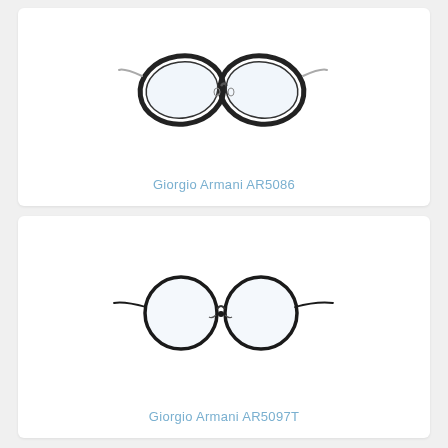[Figure (photo): Giorgio Armani AR5086 eyeglasses - cat-eye style frames with black acetate front and silver metal temples on white background]
Giorgio Armani AR5086
[Figure (photo): Giorgio Armani AR5097T eyeglasses - round metal frames with thin black metal rims and long thin temples on white background]
Giorgio Armani AR5097T